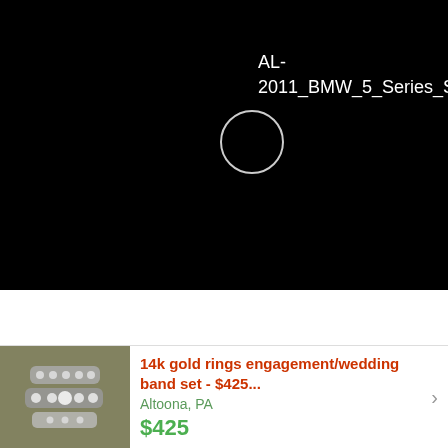[Figure (screenshot): Black banner with a circular icon/placeholder and text reading AL-2011_BMW_5_Series_Sed...]
AL-
2011_BMW_5_Series_Sed...
[Figure (photo): Photo of 14k gold diamond engagement and wedding band ring set]
14k gold rings engagement/wedding band set - $425...
Altoona, PA
$425